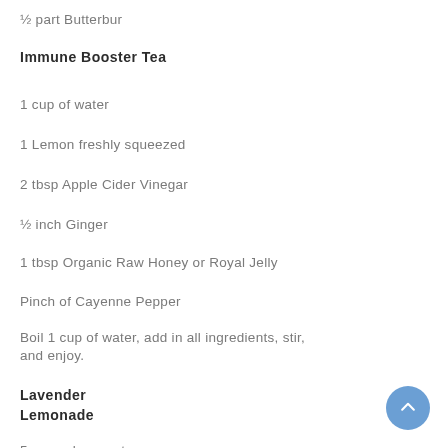½ part Butterbur
Immune Booster Tea
1 cup of water
1 Lemon freshly squeezed
2 tbsp Apple Cider Vinegar
½ inch Ginger
1 tbsp Organic Raw Honey or Royal Jelly
Pinch of Cayenne Pepper
Boil 1 cup of water, add in all ingredients, stir, and enjoy.
Lavender Lemonade
5 cups clean water
6-7 Lemons (freshly Squeezed)